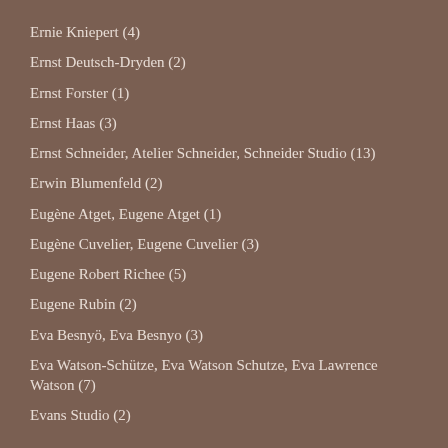Ernie Kniepert (4)
Ernst Deutsch-Dryden (2)
Ernst Forster (1)
Ernst Haas (3)
Ernst Schneider, Atelier Schneider, Schneider Studio (13)
Erwin Blumenfeld (2)
Eugène Atget, Eugene Atget (1)
Eugène Cuvelier, Eugene Cuvelier (3)
Eugene Robert Richee (5)
Eugene Rubin (2)
Eva Besnyö, Eva Besnyo (3)
Eva Watson-Schütze, Eva Watson Schutze, Eva Lawrence Watson (7)
Evans Studio (2)